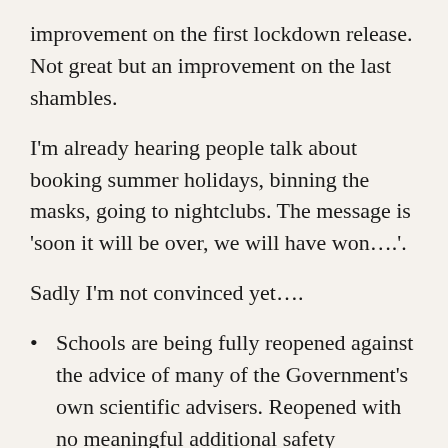improvement on the first lockdown release. Not great but an improvement on the last shambles.
I'm already hearing people talk about booking summer holidays, binning the masks, going to nightclubs. The message is 'soon it will be over, we will have won….'.
Sadly I'm not convinced yet….
Schools are being fully reopened against the advice of many of the Government's own scientific advisers. Reopened with no meaningful additional safety measures put in place.
No plans to prioritise front line groups like teachers or police for vaccines. Apparently this